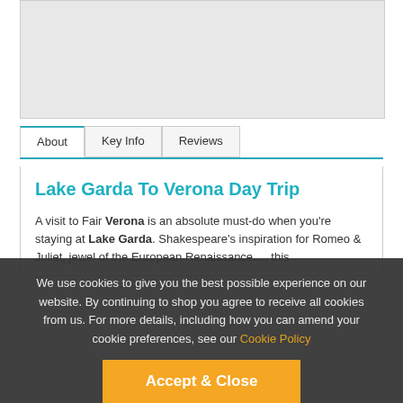[Figure (photo): Gray placeholder image area at top of page]
About | Key Info | Reviews
Lake Garda To Verona Day Trip
A visit to Fair Verona is an absolute must-do when you're staying at Lake Garda. Shakespeare's inspiration for Romeo & Juliet, jewel of the European Renaissance…. this
We use cookies to give you the best possible experience on our website. By continuing to shop you agree to receive all cookies from us. For more details, including how you can amend your cookie preferences, see our Cookie Policy
The Lake Garda to Verona tour includes: a panoramic tour of Verona accompanied by a guide who will entertain you with facts and stories about this fabulous
Accept & Close